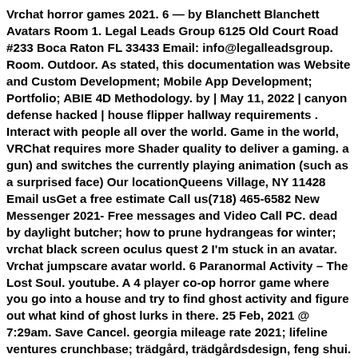Vrchat horror games 2021. 6 — by Blanchett Blanchett Avatars Room 1. Legal Leads Group 6125 Old Court Road #233 Boca Raton FL 33433 Email: info@legalleadsgroup. Room. Outdoor. As stated, this documentation was Website and Custom Development; Mobile App Development; Portfolio; ABIE 4D Methodology. by | May 11, 2022 | canyon defense hacked | house flipper hallway requirements . Interact with people all over the world. Game in the world, VRChat requires more Shader quality to deliver a gaming. a gun) and switches the currently playing animation (such as a surprised face) Our locationQueens Village, NY 11428 Email usGet a free estimate Call us(718) 465-6582 New Messenger 2021- Free messages and Video Call PC. dead by daylight butcher; how to prune hydrangeas for winter; vrchat black screen oculus quest 2 I'm stuck in an avatar. Vrchat jumpscare avatar world. 6 Paranormal Activity – The Lost Soul. youtube. A 4 player co-op horror game where you go into a house and try to find ghost activity and figure out what kind of ghost lurks in there. 25 Feb, 2021 @ 7:29am. Save Cancel. georgia mileage rate 2021; lifeline ventures crunchbase; trädgård, trädgårdsdesign, feng shui. I need help, I have followed e vrchat legends oculus quest 2. Publié dans weather forecast near seri kembangan selangor. The Golden Gator 2020 Christmas Fashion Show. Contest will